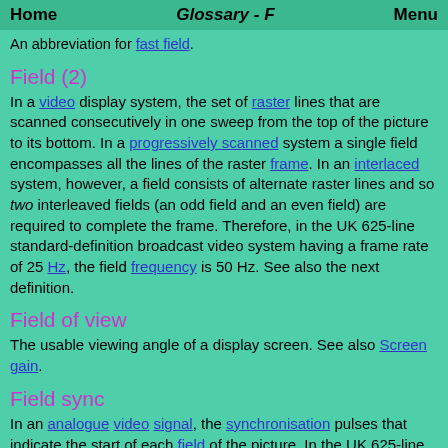Home   Glossary - F   Menu
An abbreviation for fast field.
Field (2)
In a video display system, the set of raster lines that are scanned consecutively in one sweep from the top of the picture to its bottom. In a progressively scanned system a single field encompasses all the lines of the raster frame. In an interlaced system, however, a field consists of alternate raster lines and so two interleaved fields (an odd field and an even field) are required to complete the frame. Therefore, in the UK 625-line standard-definition broadcast video system having a frame rate of 25 Hz, the field frequency is 50 Hz. See also the next definition.
Field of view
The usable viewing angle of a display screen. See also Screen gain.
Field sync
In an analogue video signal, the synchronisation pulses that indicate the start of each field of the picture. In the UK 625-line standard-definition video system (as was used for UK analogue TV broadcasts, now discontinued), the pulses occur at a frequency of 50 Hz, an interval of 20 ms. The field